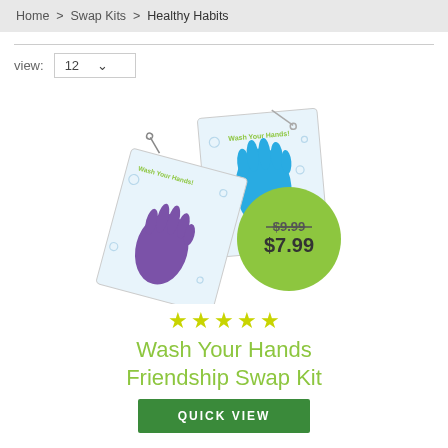Home > Swap Kits > Healthy Habits
view: 12
[Figure (photo): Product photo of Wash Your Hands Friendship Swap Kit showing two illustrated cards with hand prints and a safety pin, with a green price badge showing $9.99 crossed out and $7.99]
★★★★★
Wash Your Hands Friendship Swap Kit
QUICK VIEW